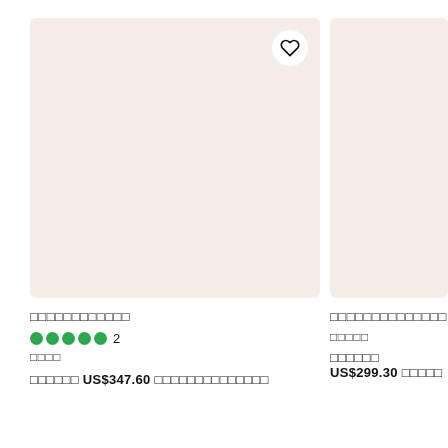[Figure (photo): Product listing card image placeholder - pinkish beige background with heart/wishlist button in top right]
□□□□□□□□□□□□
●●●●●  2
□□□□
□□□□□□ US$347.60 □□□□□□□□□□□□□□
[Figure (photo): Second product listing card image placeholder - pinkish beige background, partially visible]
□□□□□□□□□□□□□□
□□□□□
□□□□□□ US$299.30 □□□□□